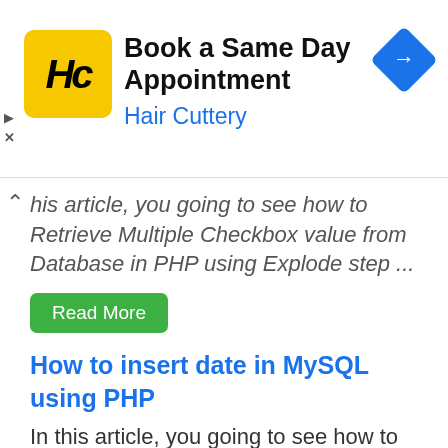[Figure (screenshot): Hair Cuttery ad banner with yellow logo, 'Book a Same Day Appointment' text, 'Hair Cuttery' subtitle in blue, and blue navigation diamond icon]
...his article, you going to see how to Retrieve Multiple Checkbox value from Database in PHP using Explode step ...
Read More
How to insert date in MySQL using PHP
In this article, you going to see how to insert date in MySQL using PHP in a detail with a ...
Read More
Magento 2 Change shipping address programmatically
In this article, you going to see how to